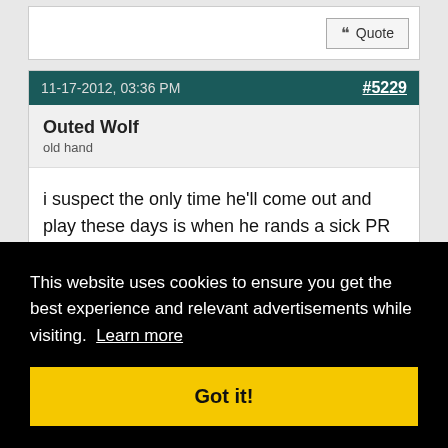Quote (partial top post button)
11-17-2012, 03:36 PM   #5229
Outed Wolf
old hand
i suspect the only time he'll come out and play these days is when he rands a sick PR or less likely a woof with a decent team
Quote (button)
#5230
y u hejj 2 b so m4u brou
This website uses cookies to ensure you get the best experience and relevant advertisements while visiting. Learn more
Got it!